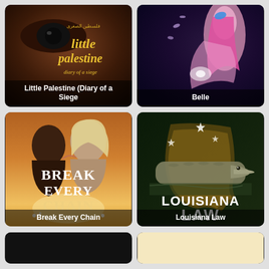[Figure (photo): Movie poster for 'Little Palestine (Diary of a Siege)' showing a close-up of an eye and yellow stylized text on a dark background]
[Figure (illustration): Movie poster for 'Belle' showing an anime-style illustration of a pink-haired female figure against a dark blue background with light effects]
[Figure (photo): Movie poster for 'Break Every Chain' showing two people facing each other with warm orange tones and white serif text]
[Figure (photo): Movie poster for 'Louisiana Law' showing a crocodile on water with a dark green background, state outline shape, stars, and bold white text]
[Figure (photo): Partially visible movie poster at the bottom left, dark/black background]
[Figure (photo): Partially visible movie poster at the bottom right, light/cream background]